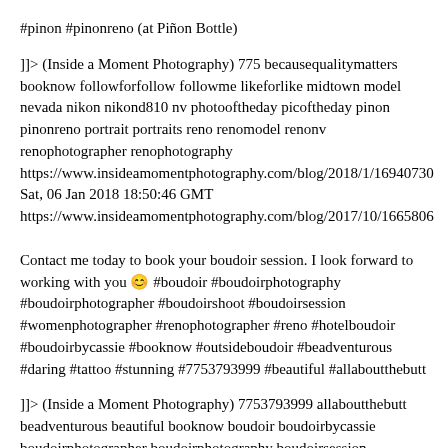#pinon #pinonreno (at Piñon Bottle)
]]> (Inside a Moment Photography) 775 becausequalitymatters booknow followforfollow followme likeforlike midtown model nevada nikon nikond810 nv photooftheday picoftheday pinon pinonreno portrait portraits reno renomodel renonv renophotographer renophotography https://www.insideamomentphotography.com/blog/2018/1/16940730 Sat, 06 Jan 2018 18:50:46 GMT https://www.insideamomentphotography.com/blog/2017/10/1665806
Contact me today to book your boudoir session. I look forward to working with you 😊 #boudoir #boudoirphotography #boudoirphotographer #boudoirshoot #boudoirsession #womenphotographer #renophotographer #reno #hotelboudoir #boudoirbycassie #booknow #outsideboudoir #beadventurous #daring #tattoo #stunning #7753793999 #beautiful #allaboutthebutt
]]> (Inside a Moment Photography) 7753793999 allaboutthebutt beadventurous beautiful booknow boudoir boudoirbycassie boudoirphotographer boudoirphotography boudoirsession boudoirshoot daring hotelboudoir outsideboudoir reno renophotographer stunning tattoo womenphotographer